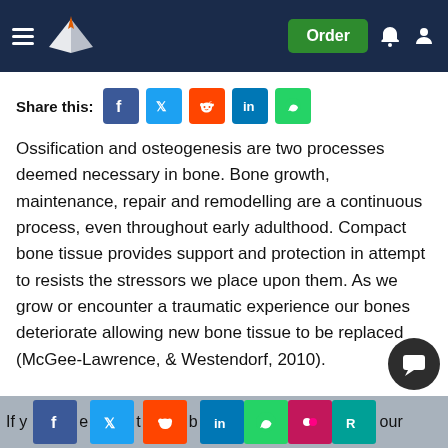Essay writing service website header with logo, Order button, notification and user icons
Share this:
Ossification and osteogenesis are two processes deemed necessary in bone. Bone growth, maintenance, repair and remodelling are a continuous process, even throughout early adulthood. Compact bone tissue provides support and protection in attempt to resists the stressors we place upon them. As we grow or encounter a traumatic experience our bones deteriorate allowing new bone tissue to be replaced (McGee-Lawrence, & Westendorf, 2010).
Get Help With Your Essay
If you need assistance with writing your essay, our professional essay writing...